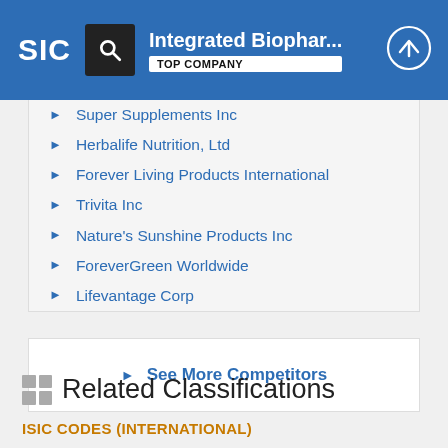Integrated Biophar... TOP COMPANY
Super Supplements Inc
Herbalife Nutrition, Ltd
Forever Living Products International
Trivita Inc
Nature's Sunshine Products Inc
ForeverGreen Worldwide
Lifevantage Corp
See More Competitors
Related Classifications
ISIC CODES (INTERNATIONAL)